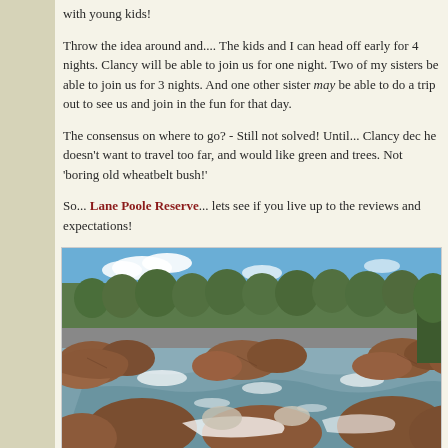with young kids!
Throw the idea around and.... The kids and I can head off early for 4 nights. Clancy will be able to join us for one night. Two of my sisters be able to join us for 3 nights. And one other sister may be able to do a trip out to see us and join in the fun for that day.
The consensus on where to go? - Still not solved! Until... Clancy dec he doesn't want to travel too far, and would like green and trees. Not 'boring old wheatbelt bush!'
So... Lane Poole Reserve... lets see if you live up to the reviews and expectations!
[Figure (photo): A river flowing over and around large reddish-brown rocks with eucalyptus trees and blue sky in the background, likely at Lane Poole Reserve, Western Australia.]